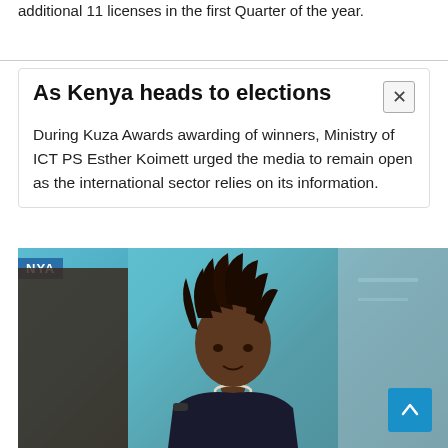additional 11 licenses in the first Quarter of the year.
As Kenya heads to elections
During Kuza Awards awarding of winners, Ministry of ICT PS Esther Koimett urged the media to remain open as the international sector relies on its information.
[Figure (photo): A woman with dreadlocks speaking at an event, blue banner with NYA text visible in the background at a Kuza Awards venue.]